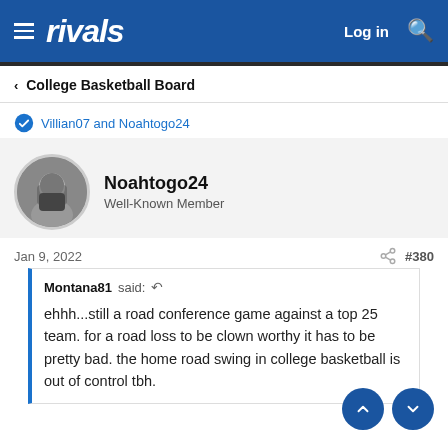rivals | Log in
< College Basketball Board
Villian07 and Noahtogo24
Noahtogo24
Well-Known Member
Jan 9, 2022   #380
Montana81 said:
ehhh...still a road conference game against a top 25 team. for a road loss to be clown worthy it has to be pretty bad. the home road swing in college basketball is out of control tbh.